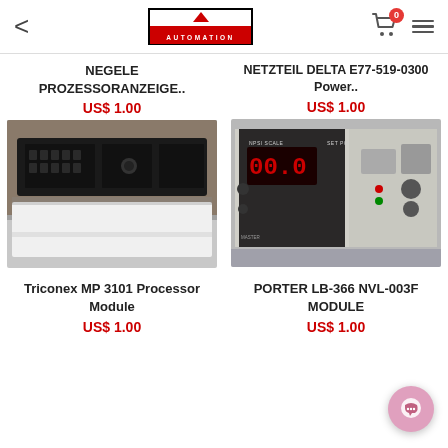Moore Automation — back, cart (0), menu
NEGELE PROZESSORANZEIGE..
US$ 1.00
[Figure (photo): Black electronic module (NEGELE processor display) sitting on a white cardboard box]
NETZTEIL DELTA E77-519-0300 Power..
US$ 1.00
[Figure (photo): Grey bench power supply unit with red LED display showing 00.0, labeled NETZTEIL SCALE]
Triconex MP 3101 Processor Module
US$ 1.00
PORTER LB-366 NVL-003F MODULE
US$ 1.00